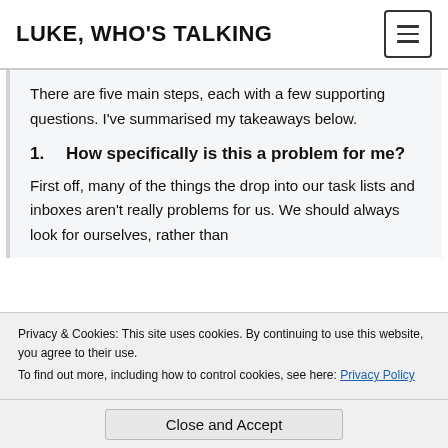LUKE, WHO'S TALKING
There are five main steps, each with a few supporting questions. I've summarised my takeaways below.
1.    How specifically is this a problem for me?
First off, many of the things the drop into our task lists and inboxes aren't really problems for us. We should always look for ourselves, rather than
Privacy & Cookies: This site uses cookies. By continuing to use this website, you agree to their use.
To find out more, including how to control cookies, see here: Privacy Policy
Close and Accept